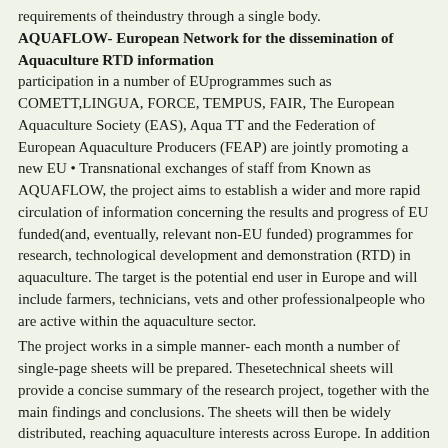requirements of theindustry through a single body.
AQUAFLOW- European Network for the dissemination of Aquaculture RTD information
participation in a number of EUprogrammes such as COMETT,LINGUA, FORCE, TEMPUS, FAIR, The European Aquaculture Society (EAS), Aqua TT and the Federation of European Aquaculture Producers (FEAP) are jointly promoting a new EU • Transnational exchanges of staff from Known as AQUAFLOW, the project aims to establish a wider and more rapid circulation of information concerning the results and progress of EU funded(and, eventually, relevant non-EU funded) programmes for research, technological development and demonstration (RTD) in aquaculture. The target is the potential end user in Europe and will include farmers, technicians, vets and other professionalpeople who are active within the aquaculture sector.
The project works in a simple manner- each month a number of single-page sheets will be prepared. Thesetechnical sheets will provide a concise summary of the research project, together with the main findings and conclusions. The sheets will then be widely distributed, reaching aquaculture interests across Europe. In addition a series of workshops are planned over the 3 year period, the first being scheduled for"Aquaculture Europe" to be held in Bordeaux, France network of almost 600 membersthroughout the European aquaculture Aquaflow will also collect feedback from the small and medium aquaculture enterprises (SMEs) to be able to identify further the needs for aquaculture research institutes, governmental laboratories and & technology and associate information services as well as being able to respond to problems and bottlenecks encountered in the